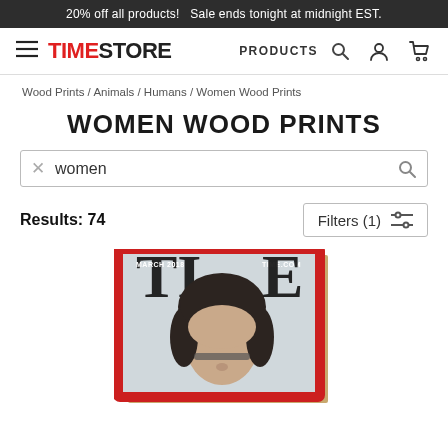20% off all products!   Sale ends tonight at midnight EST.
[Figure (screenshot): TIME STORE navigation bar with hamburger menu, TIME STORE logo, PRODUCTS link, search icon, user icon, and cart icon]
Wood Prints / Animals / Humans / Women Wood Prints
WOMEN WOOD PRINTS
women
Results: 74
[Figure (photo): Wood print product showing a TIME magazine cover with a woman's face (dark hair pulled back, glasses), red border, partial TIME masthead visible. The print is shown at an angle revealing the wood edge.]